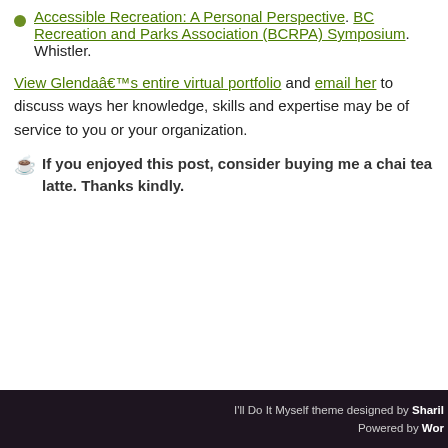Accessible Recreation: A Personal Perspective. BC Recreation and Parks Association (BCRPA) Symposium. Whistler.
View Glendaâ€™s entire virtual portfolio and email her to discuss ways her knowledge, skills and expertise may be of service to you or your organization.
☕ If you enjoyed this post, consider buying me a chai tea latte. Thanks kindly.
I'll Do It Myself theme designed by Shari. Powered by Wor...